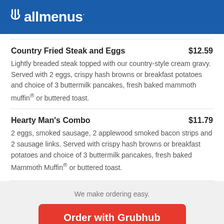allmenus
Country Fried Steak and Eggs    $12.59
Lightly breaded steak topped with our country-style cream gravy. Served with 2 eggs, crispy hash browns or breakfast potatoes and choice of 3 buttermilk pancakes, fresh baked mammoth muffin® or buttered toast.
Hearty Man's Combo    $11.79
2 eggs, smoked sausage, 2 applewood smoked bacon strips and 2 sausage links. Served with crispy hash browns or breakfast potatoes and choice of 3 buttermilk pancakes, fresh baked Mammoth Muffin® or buttered toast.
We make ordering easy.
Order with Grubhub